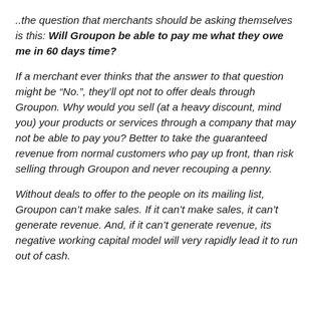..the question that merchants should be asking themselves is this: Will Groupon be able to pay me what they owe me in 60 days time?
If a merchant ever thinks that the answer to that question might be “No.”, they’ll opt not to offer deals through Groupon. Why would you sell (at a heavy discount, mind you) your products or services through a company that may not be able to pay you? Better to take the guaranteed revenue from normal customers who pay up front, than risk selling through Groupon and never recouping a penny.
Without deals to offer to the people on its mailing list, Groupon can’t make sales. If it can’t make sales, it can’t generate revenue. And, if it can’t generate revenue, its negative working capital model will very rapidly lead it to run out of cash.